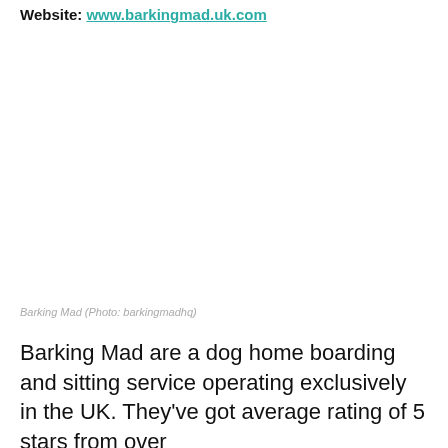Website: www.barkingmad.uk.com
[Figure (photo): Barking Mad photo placeholder area]
Barking Mad (Photo: barkingmadhq)
Barking Mad are a dog home boarding and sitting service operating exclusively in the UK. They've got average rating of 5 stars from over